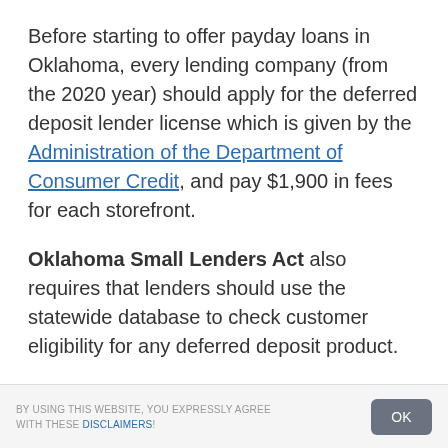Before starting to offer payday loans in Oklahoma, every lending company (from the 2020 year) should apply for the deferred deposit lender license which is given by the Administration of the Department of Consumer Credit, and pay $1,900 in fees for each storefront.
Oklahoma Small Lenders Act also requires that lenders should use the statewide database to check customer eligibility for any deferred deposit product.
BY USING THIS WEBSITE, YOU EXPRESSLY AGREE WITH THESE DISCLAIMERS!